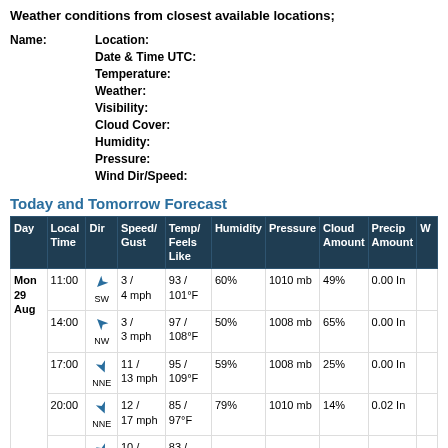Weather conditions from closest available locations;
Name:
Location:
Date & Time UTC:
Temperature:
Weather:
Visibility:
Cloud Cover:
Humidity:
Pressure:
Wind Dir/Speed:
Today and Tomorrow Forecast
| Day | Local Time | Dir | Speed/Gust | Temp/Feels Like | Humidity | Pressure | Cloud Amount | Precip Amount | W |
| --- | --- | --- | --- | --- | --- | --- | --- | --- | --- |
| Mon 29 Aug | 11:00 | SW | 3 / 4 mph | 93 / 101°F | 60% | 1010 mb | 49% | 0.00 In |  |
|  | 14:00 | NW | 3 / 3 mph | 97 / 108°F | 50% | 1008 mb | 65% | 0.00 In |  |
|  | 17:00 | NNE | 11 / 13 mph | 95 / 109°F | 59% | 1008 mb | 25% | 0.00 In |  |
|  | 20:00 | NNE | 12 / 17 mph | 85 / 97°F | 79% | 1010 mb | 14% | 0.02 In |  |
|  |  |  | 10 / | 83 / |  |  |  |  |  |